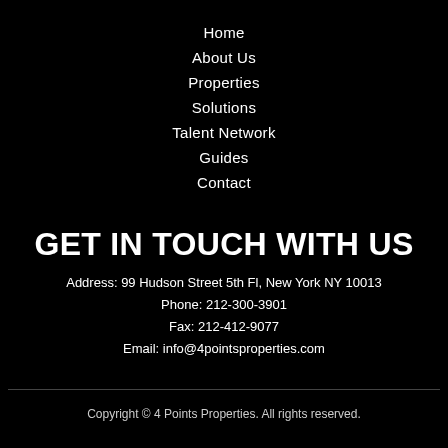Home
About Us
Properties
Solutions
Talent Network
Guides
Contact
GET IN TOUCH WITH US
Address: 99 Hudson Street 5th Fl, New York NY 10013
Phone: 212-300-3901
Fax: 212-412-9077
Email: info@4pointsproperties.com
Copyright © 4 Points Properties. All rights reserved.